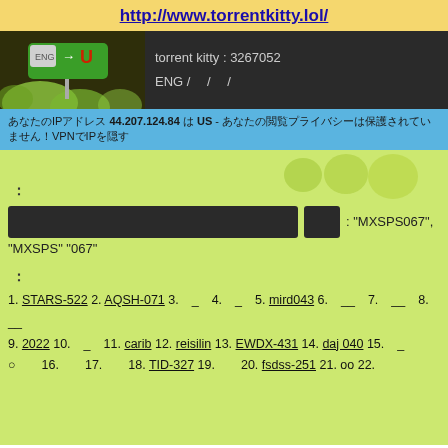http://www.torrentkitty.lol/
[Figure (screenshot): Torrent Kitty website header with logo (green sign with arrow and magnet U symbol, cat paw/leaf graphic on dark background), showing torrent kitty ID 3267052 and ENG language selector]
あなたのIPアドレス 44.207.124.84 は US - あなたの閲覧プライバシーは保護されていません！VPNでIPを隠す
：
: "MXSPS067", "MXSPS" "067"
：
1. STARS-522 2. AQSH-071 3. _ 4. _ 5. mird043 6. __ 7. __ 8. __
9. 2022 10. _ 11. carib 12. reisilin 13. EWDX-431 14. daj 040 15. _○ 16. 17. 18. TID-327 19. 20. fsdss-251 21. oo 22.